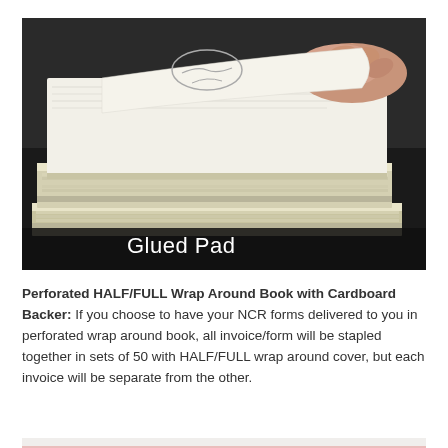[Figure (photo): Photo of stacked glued pads of paper/NCR forms with a hand peeling back the top sheet, with 'Glued Pad' text label overlay in white on dark background]
Perforated HALF/FULL Wrap Around Book with Cardboard Backer: If you choose to have your NCR forms delivered to you in perforated wrap around book, all invoice/form will be stapled together in sets of 50 with HALF/FULL wrap around cover, but each invoice will be separate from the other.
[Figure (photo): Photo showing a partial view of pink and white NCR form pages]